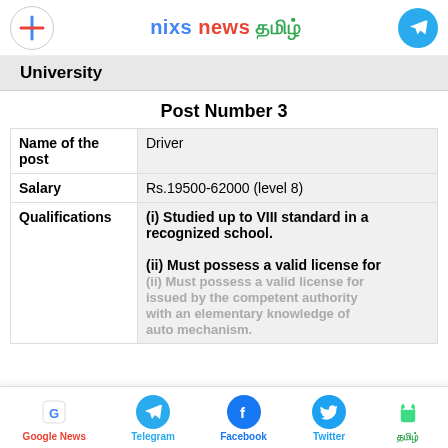nixs news தமிழ்
University
Post Number 3
| Field | Value |
| --- | --- |
| Name of the post | Driver |
| Salary | Rs.19500-62000 (level 8) |
| Qualifications | (i) Studied up to VIII standard in a recognized school.
(ii) Must possess a valid license for issued by the competent authority with an elementary knowledge of auto mechanism. |
Google News | Telegram | Facebook | Twitter | தமிழ்